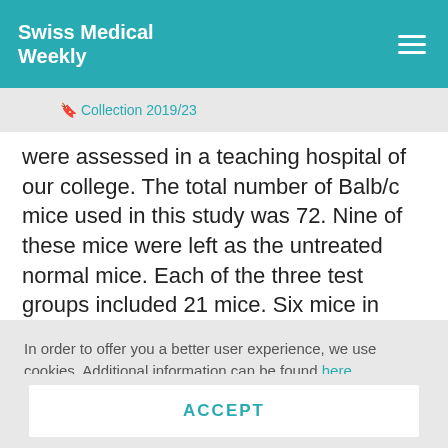Swiss Medical Weekly
🔖 Collection 2019/23
were assessed in a teaching hospital of our college. The total number of Balb/c mice used in this study was 72. Nine of these mice were left as the untreated normal mice. Each of the three test groups included 21 mice. Six mice in each test group were randomly picked out for serum IgG, splenocyte proliferation and
In order to offer you a better user experience, we use cookies. Additional information can be found here..
ACCEPT